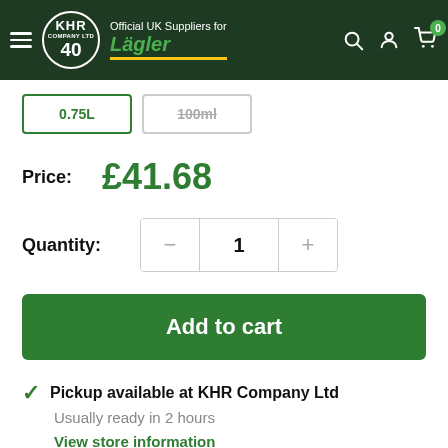KHR Company Ltd 40 — Official UK Suppliers for Lägler
0.75L | 100ml
Price: £41.68
Quantity: 1
Add to cart
Pickup available at KHR Company Ltd
Usually ready in 2 hours
View store information